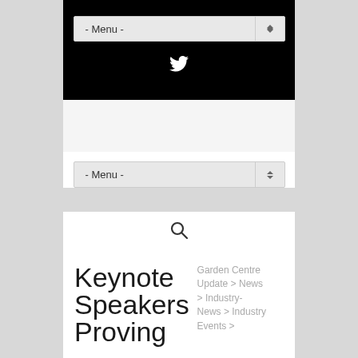[Figure (screenshot): Black navigation header bar with a dropdown menu labeled '- Menu -' and a Twitter bird icon below it]
[Figure (screenshot): Light gray banner/advertisement area]
[Figure (screenshot): Second dropdown menu labeled '- Menu -' on white background]
[Figure (screenshot): Search icon (magnifying glass) on white background]
Keynote Speakers Proving
Garden Centre Update > News > Industry-News > Industry Events >